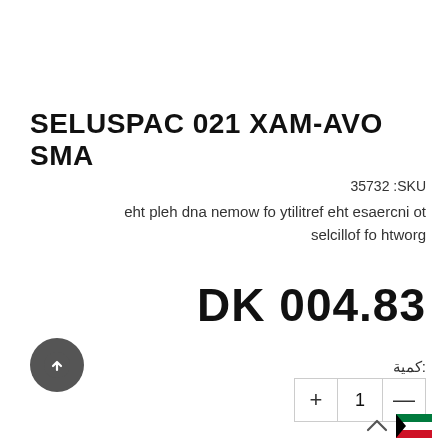SELUSPAC 021 XAM-AVO SMA
SKU: 35732
eht pleh dna nemow fo ytilitref eht esaercni ot selcillof fo htworg
DK 004.83
كمية:
+ 1 —
[Figure (illustration): Upload/arrow-up button (dark circular icon with up arrow)]
[Figure (illustration): Chevron up arrow and Kuwait flag in bottom right corner]